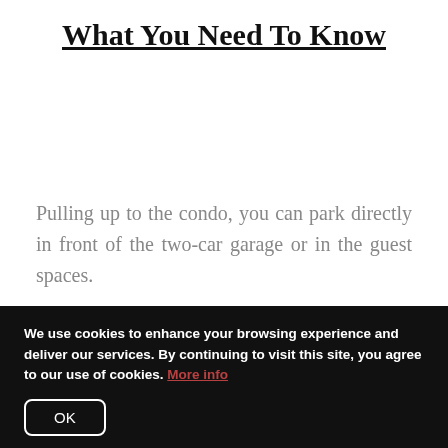What You Need To Know
Pulling up to the condo, you can park directly in front of the two-car garage or in the guest spaces.
Follow the sidewalk around the corner and you'll find the private patio located at the front door. The patio is fenced in, including a gate, so you and your pack can
We use cookies to enhance your browsing experience and deliver our services. By continuing to visit this site, you agree to our use of cookies. More info
OK